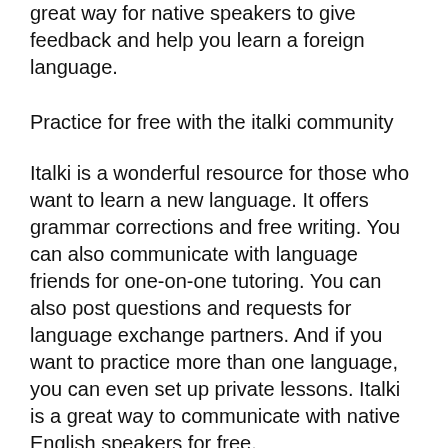great way for native speakers to give feedback and help you learn a foreign language.
Practice for free with the italki community
Italki is a wonderful resource for those who want to learn a new language. It offers grammar corrections and free writing. You can also communicate with language friends for one-on-one tutoring. You can also post questions and requests for language exchange partners. And if you want to practice more than one language, you can even set up private lessons. Italki is a great way to communicate with native English speakers for free.